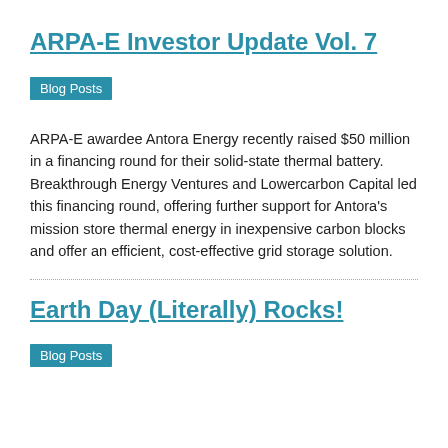ARPA-E Investor Update Vol. 7
Blog Posts
ARPA-E awardee Antora Energy recently raised $50 million in a financing round for their solid-state thermal battery. Breakthrough Energy Ventures and Lowercarbon Capital led this financing round, offering further support for Antora's mission store thermal energy in inexpensive carbon blocks and offer an efficient, cost-effective grid storage solution.
Earth Day (Literally) Rocks!
Blog Posts